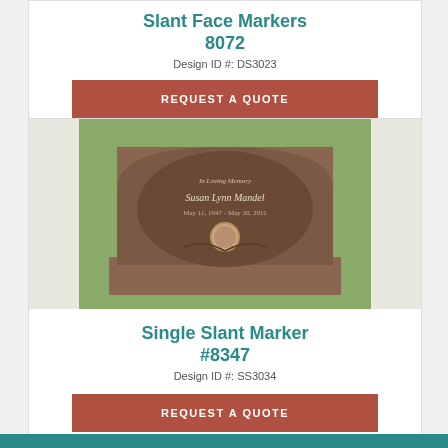Slant Face Markers 8072
Design ID #: DS3023
REQUEST A QUOTE
[Figure (photo): Photo of a brown granite single slant marker inscribed 'Susan Lynn Mandel' with dates and a portrait medallion, placed on a base, outdoors on green grass.]
Single Slant Marker #8347
Design ID #: SS3034
REQUEST A QUOTE